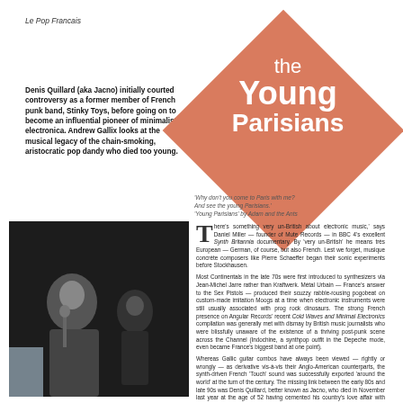Le Pop Francais
Denis Quillard (aka Jacno) initially courted controversy as a former member of French punk band, Stinky Toys, before going on to become an influential pioneer of minimalist electronica. Andrew Gallix looks at the musical legacy of the chain-smoking, aristocratic pop dandy who died too young.
the Young Parisians
'Why don't you come to Paris with me? And see the young Parisians.' 'Young Parisians' by Adam and the Ants
[Figure (photo): Black and white concert photo of a performer singing into a microphone on stage, with another person visible in the background.]
There's something very un-British about electronic music,' says Daniel Miller — founder of Mute Records — in BBC 4's excellent Synth Britannia documentary. By 'very un-British' he means très European — German, of course, but also French. Lest we forget, musique concrète composers like Pierre Schaeffer began their sonic experiments before Stockhausen. Most Continentals in the late 70s were first introduced to synthesizers via Jean-Michel Jarre rather than Kraftwerk. Métal Urbain — France's answer to the Sex Pistols — produced their scuzzy rabble-rousing pogobeat on custom-made imitation Moogs at a time when electronic instruments were still usually associated with prog rock dinosaurs. The strong French presence on Angular Records' recent Cold Waves and Minimal Electronics compilation was generally met with dismay by British music journalists who were blissfully unaware of the existence of a thriving post-punk scene across the Channel (Indochine, a synthpop outfit in the Depeche mode, even became France's biggest band at one point). Whereas Gallic guitar combos have always been viewed — rightly or wrongly — as derivative vis-à-vis their Anglo-American counterparts, the synth-driven French 'Touch' sound was successfully exported 'around the world' at the turn of the century. The missing link between the early 80s and late 90s was Denis Quillard, better known as Jacno, who died in November last year at the age of 52 having cemented his country's love affair with minimalist electronics.